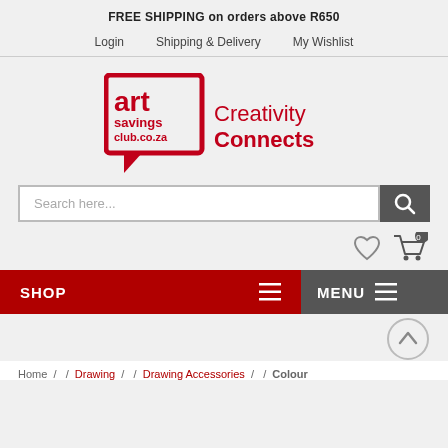FREE SHIPPING on orders above R650
Login  Shipping & Delivery  My Wishlist
[Figure (logo): Art Savings Club logo with speech bubble icon and text 'Creativity Connects Us.']
Search here...
SHOP  MENU
Home /  / Drawing /  / Drawing Accessories /  / Colour